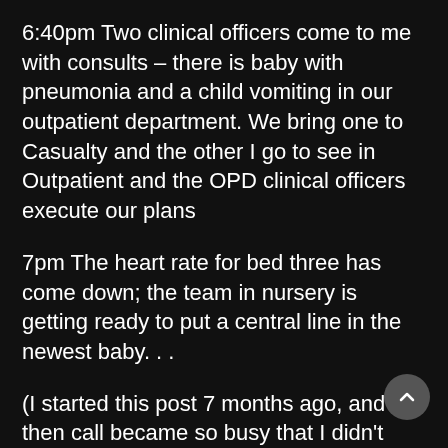6:40pm Two clinical officers come to me with consults – there is baby with pneumonia and a child vomiting in our outpatient department. We bring one to Casualty and the other I go to see in Outpatient and the OPD clinical officers execute our plans
7pm The heart rate for bed three has come down; the team in nursery is getting ready to put a central line in the newest baby...
(I started this post 7 months ago, and then call became so busy that I didn't finish it. It would be remarkable if I could remember how it ended, but all I know is at 7pm I had 2.5 hours ahead of me before I would be off call.